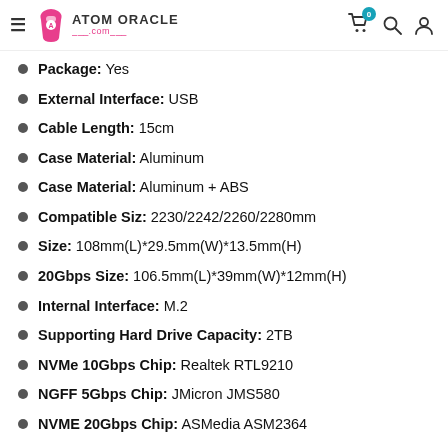Atom Oracle .com
Package: Yes
External Interface: USB
Cable Length: 15cm
Case Material: Aluminum
Case Material: Aluminum + ABS
Compatible Siz: 2230/2242/2260/2280mm
Size: 108mm(L)*29.5mm(W)*13.5mm(H)
20Gbps Size: 106.5mm(L)*39mm(W)*12mm(H)
Internal Interface: M.2
Supporting Hard Drive Capacity: 2TB
NVMe 10Gbps Chip: Realtek RTL9210
NGFF 5Gbps Chip: JMicron JMS580
NVME 20Gbps Chip: ASMedia ASM2364